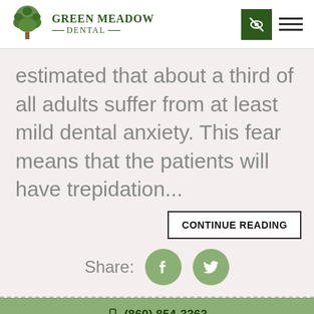Green Meadow Dental
estimated that about a third of all adults suffer from at least mild dental anxiety. This fear means that the patients will have trepidation...
CONTINUE READING
Share:
(860) 854-3363
BOOK AN APPOINTMENT